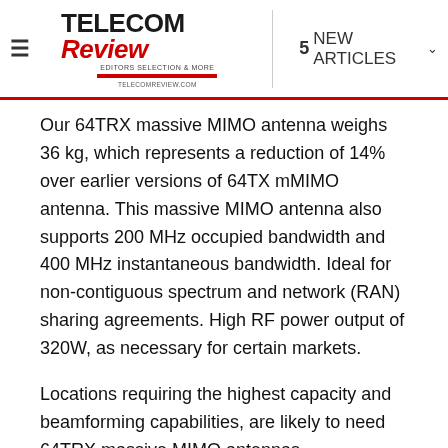≡  TELECOM Review  5 NEW ARTICLES
Our 64TRX massive MIMO antenna weighs 36 kg, which represents a reduction of 14% over earlier versions of 64TX mMIMO antenna. This massive MIMO antenna also supports 200 MHz occupied bandwidth and 400 MHz instantaneous bandwidth. Ideal for non-contiguous spectrum and network (RAN) sharing agreements. High RF power output of 320W, as necessary for certain markets.
Locations requiring the highest capacity and beamforming capabilities, are likely to need 64TRX massive MIMO antennas.
High instantaneous bandwidth is required to support non-contiguous spectrum - fragmented spectrum and the increasing number of 5G network sharing cases. This is